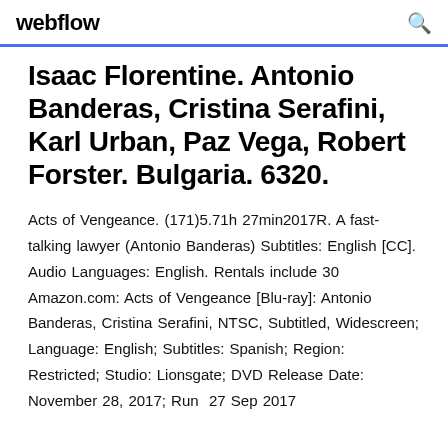webflow
Isaac Florentine. Antonio Banderas, Cristina Serafini, Karl Urban, Paz Vega, Robert Forster. Bulgaria. 6320.
Acts of Vengeance. (171)5.71h 27min2017R. A fast-talking lawyer (Antonio Banderas) Subtitles: English [CC]. Audio Languages: English. Rentals include 30  Amazon.com: Acts of Vengeance [Blu-ray]: Antonio Banderas, Cristina Serafini, NTSC, Subtitled, Widescreen; Language: English; Subtitles: Spanish; Region: Restricted; Studio: Lionsgate; DVD Release Date: November 28, 2017; Run  27 Sep 2017